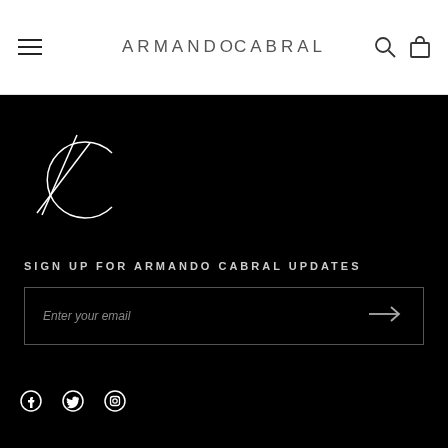ARMANDOCABRAL
[Figure (logo): Armando Cabral AC monogram logo in white on black background]
SIGN UP FOR ARMANDO CABRAL UPDATES
Enter your email
[Figure (other): Social media icons: Facebook, Twitter, Instagram]